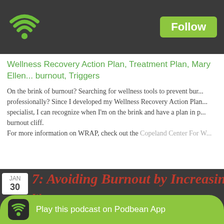[Figure (screenshot): Podbean podcast app interface screenshot showing a podcast episode page with WiFi/Podbean logo, Follow button, episode tags, description text, action buttons (Likes, Share, Download), and a teaser for the next episode, with a Play this podcast on Podbean App banner at the bottom.]
Wellness Recovery Action Plan, Treatment Plan, Mary Ellen... burnout, Triggers
On the brink of burnout? Searching for wellness tools to prevent bur... professionally? Since I developed my Wellness Recovery Action Plan... specialist, I can recognize when I'm on the brink and have a plan in p... burnout cliff.
For more information on WRAP, check out the Copeland Center For W...
Likes(1)   Share   Download(500)
7: Avoiding Burnout by Increasing...
Play this podcast on Podbean App